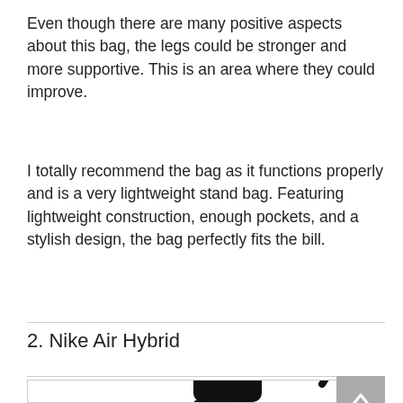Even though there are many positive aspects about this bag, the legs could be stronger and more supportive. This is an area where they could improve.
I totally recommend the bag as it functions properly and is a very lightweight stand bag. Featuring lightweight construction, enough pockets, and a stylish design, the bag perfectly fits the bill.
2. Nike Air Hybrid
[Figure (photo): Partial view of a black Nike golf stand bag]